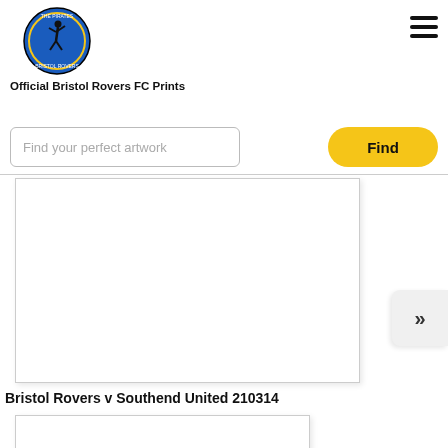[Figure (logo): Bristol Rovers FC circular club badge logo with blue background and player figure]
Official Bristol Rovers FC Prints
[Figure (other): Hamburger menu icon (three horizontal lines)]
Find your perfect artwork
Find
[Figure (photo): Large white/empty product image card for Bristol Rovers v Southend United 210314]
Bristol Rovers v Southend United 210314
[Figure (other): Next/forward navigation button with double chevron »]
[Figure (photo): Partial second product image card (bottom of page)]